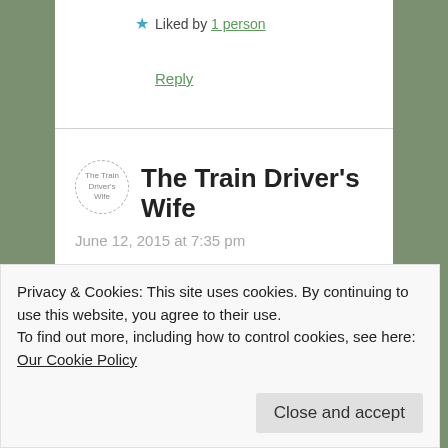★ Liked by 1 person
Reply
The Train Driver's Wife
June 12, 2015 at 7:35 pm
I'm glad you enjoyed them!
★ Like
Privacy & Cookies: This site uses cookies. By continuing to use this website, you agree to their use. To find out more, including how to control cookies, see here: Our Cookie Policy